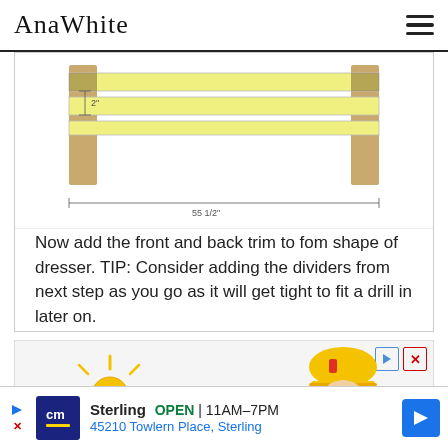AnaWhite
[Figure (engineering-diagram): Top-down or front view of a dresser frame with horizontal yellow/light rails spanning between two vertical wooden legs. Dimension lines show '2"' for a small vertical gap and '55 1/2"' for the total width.]
Now add the front and back trim to fom shape of dresser. TIP: Consider adding the dividers from next step as you go as it will get tight to fit a drill in later on.
[Figure (illustration): Advertisement image showing a cartoon sun character on the left and a cartoon hamster/animal wearing a yellow hard hat and sunglasses on the right, with ad controls (play and close buttons) in the top right corner.]
Sterling  OPEN | 11AM–7PM
45210 Towlern Place, Sterling